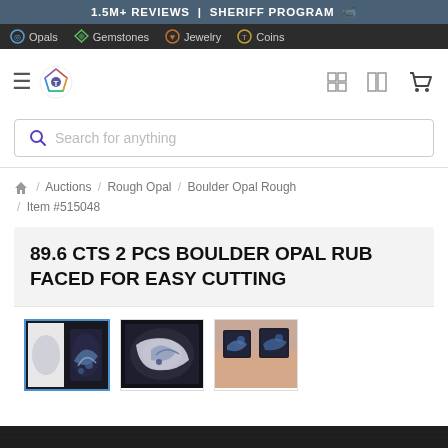1.5M+ REVIEWS | SHERIFF PROGRAM 🎥
Opals | Gemstones | Jewelry | Coins
[Figure (screenshot): Navigation header with hamburger menu, logo, grid-view icons, and shopping cart icon]
Search for anything
Home / Auctions / Rough Opal / Boulder Opal Rough / Item #515048
89.6 CTS 2 PCS BOULDER OPAL RUB FACED FOR EASY CUTTING
[Figure (photo): Three thumbnail photos of boulder opal rough stones, first selected with blue border]
[Figure (photo): Partial bottom strip showing dark background image]